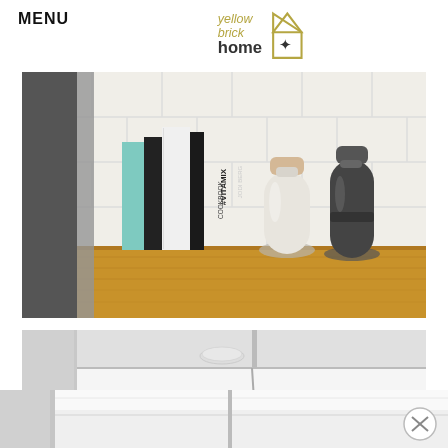MENU
[Figure (logo): Yellow Brick Home logo with house outline and star]
[Figure (photo): Kitchen counter with books (Vitamix Cookbook, Superfood Smoothie, Jodi Berg) and two bottle-shaped salt/pepper grinders (white and dark gray) against white subway tile backsplash, on a wood counter]
[Figure (photo): White kitchen cabinet and countertop, close-up view showing white counter surface with circular hardware and cabinet door]
[Figure (photo): White kitchen counter bottom portion, with close button overlay in bottom right corner]